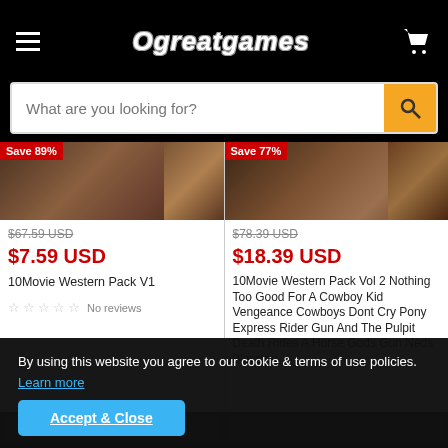Ogreatgames
What are you looking for?
[Figure (screenshot): Product card: Save 89%, $67.59 USD crossed out, $7.59 USD, 10Movie Western Pack V1, No reviews]
[Figure (screenshot): Product card: Save 77%, $78.39 USD crossed out, $18.39 USD, 10Movie Western Pack Vol 2 Nothing Too Good For A Cowboy Kid Vengeance Cowboys Dont Cry Pony Express Rider Gun And The Pulpit Death Rides A Horse Gods Gun Neds Blessing]
By using this website you agree to our cookie & terms of use policies.
Learn more
Accept & Close